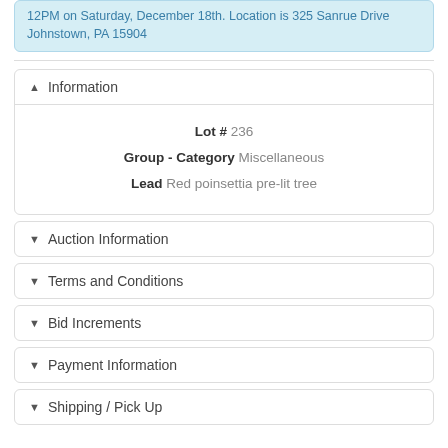12PM on Saturday, December 18th. Location is 325 Sanrue Drive Johnstown, PA 15904
Information
Lot # 236
Group - Category Miscellaneous
Lead Red poinsettia pre-lit tree
Auction Information
Terms and Conditions
Bid Increments
Payment Information
Shipping / Pick Up